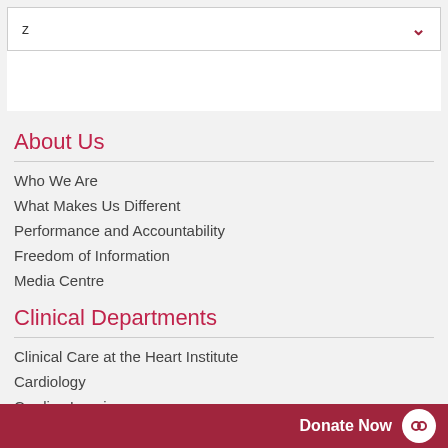z
About Us
Who We Are
What Makes Us Different
Performance and Accountability
Freedom of Information
Media Centre
Clinical Departments
Clinical Care at the Heart Institute
Cardiology
Cardiac Imaging
Donate Now